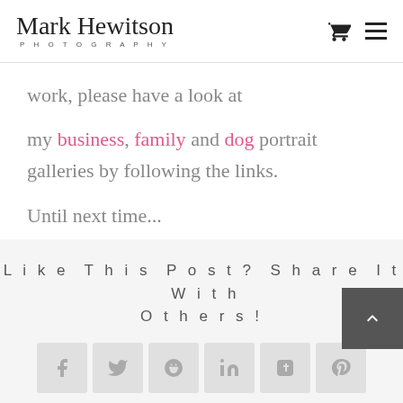Mark Hewitson Photography
work, please have a look at
my business, family and dog portrait galleries by following the links.
Until next time...
Like This Post? Share It With Others!